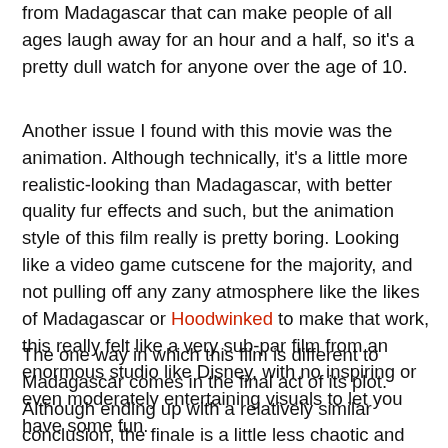from Madagascar that can make people of all ages laugh away for an hour and a half, so it's a pretty dull watch for anyone over the age of 10.
Another issue I found with this movie was the animation. Although technically, it's a little more realistic-looking than Madagascar, with better quality fur effects and such, but the animation style of this film really is pretty boring. Looking like a video game cutscene for the majority, and not pulling off any zany atmosphere like the likes of Madagascar or Hoodwinked to make that work, this really felt like a very sub-par film from an enormous studio like Disney, with no inspiring or even moderately entertaining visuals to let you have some fun.
The one way in which this film is different to Madagascar comes in the final act of its plot. Although ending up with a relatively similar conclusion, the finale is a little less chaotic and more personal, centring around the lion's desperate